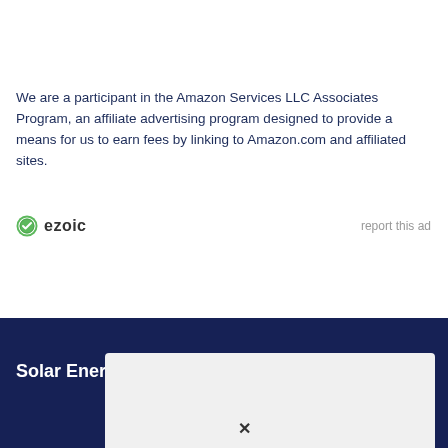We are a participant in the Amazon Services LLC Associates Program, an affiliate advertising program designed to provide a means for us to earn fees by linking to Amazon.com and affiliated sites.
[Figure (logo): Ezoic logo with green circular icon and 'ezoic' text, alongside 'report this ad' link]
Solar Energy